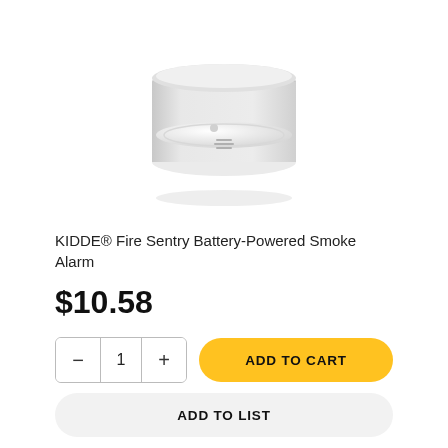[Figure (photo): White circular KIDDE smoke alarm detector, viewed from a slight angle, white plastic body with speaker grille vents and a small button visible on the front face.]
KIDDE® Fire Sentry Battery-Powered Smoke Alarm
$10.58
− 1 + ADD TO CART
ADD TO LIST